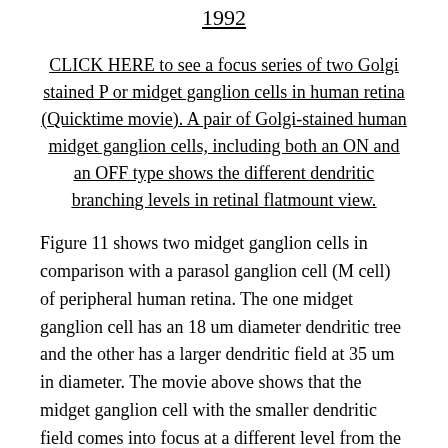1992
CLICK HERE to see a focus series of two Golgi stained P or midget ganglion cells in human retina (Quicktime movie). A pair of Golgi-stained human midget ganglion cells, including both an ON and an OFF type shows the different dendritic branching levels in retinal flatmount view.
Figure 11 shows two midget ganglion cells in comparison with a parasol ganglion cell (M cell) of peripheral human retina. The one midget ganglion cell has an 18 um diameter dendritic tree and the other has a larger dendritic field at 35 um in diameter. The movie above shows that the midget ganglion cell with the smaller dendritic field comes into focus at a different level from the larger field cell. The former midget ganglion cell branches high in the IPL and so is probably an OFF center